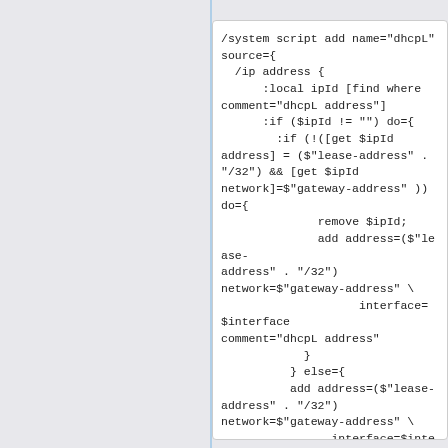/system script add name="dhcpL" source={
  /ip address {
      :local ipId [find where comment="dhcpL address"]
      :if ($ipId != "") do={
        :if (!([get $ipId address] = ($"lease-address" . "/32") && [get $ipId network]=$"gateway-address" )) do={
              remove $ipId;
              add address=($"lease-address" . "/32") network=$"gateway-address" \
                    interface=$interface comment="dhcpL address"
            }
          } else={
          add address=($"lease-address" . "/32") network=$"gateway-address" \
                interface=$interface comment="dhcpL address"
          }
        }
    }